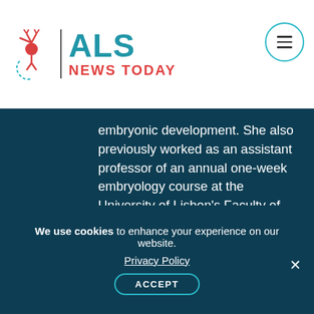ALS NEWS TODAY
embryonic development. She also previously worked as an assistant professor of an annual one-week embryology course at the University of Lisbon's Faculty of Medicine.
Tags
ALS risk factors, cell death, genetic risk factors, nerve
We use cookies to enhance your experience on our website. Privacy Policy ACCEPT